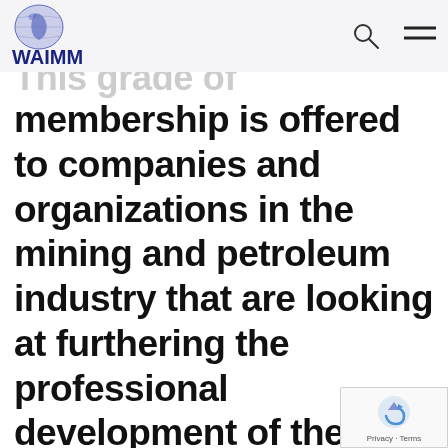WAIMM
This grade of membership is offered to companies and organizations in the mining and petroleum industry that are looking at furthering the professional development of their